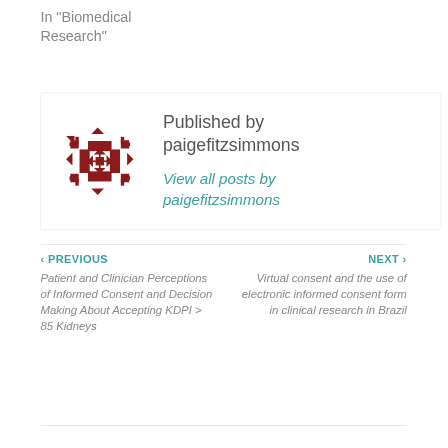In "Biomedical Research"
[Figure (logo): Decorative avatar/logo: a dark red geometric quilt-like pattern with cross and diamond shapes]
Published by paigefitzsimmons
View all posts by paigefitzsimmons
< PREVIOUS
Patient and Clinician Perceptions of Informed Consent and Decision Making About Accepting KDPI > 85 Kidneys
NEXT >
Virtual consent and the use of electronic informed consent form in clinical research in Brazil